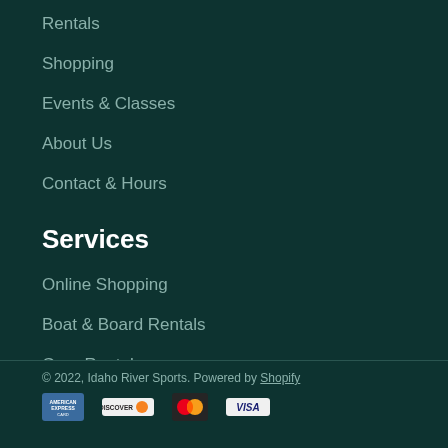Rentals
Shopping
Events & Classes
About Us
Contact & Hours
Services
Online Shopping
Boat & Board Rentals
Gear Rentals
Raft Package Rentals
Board Repairs
© 2022, Idaho River Sports. Powered by Shopify